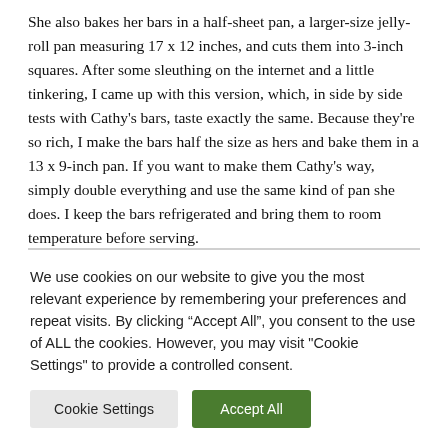She also bakes her bars in a half-sheet pan, a larger-size jelly-roll pan measuring 17 x 12 inches, and cuts them into 3-inch squares.  After some sleuthing on the internet and a little tinkering, I came up with this version, which, in side by side tests with Cathy's bars, taste exactly the same.  Because they're so rich, I make the bars half the size as hers and bake them in a 13 x 9-inch pan.  If you want to make them Cathy's way, simply double everything and use the same kind of pan she does.  I keep the bars refrigerated and bring them to room temperature before serving.
We use cookies on our website to give you the most relevant experience by remembering your preferences and repeat visits. By clicking "Accept All", you consent to the use of ALL the cookies. However, you may visit "Cookie Settings" to provide a controlled consent.